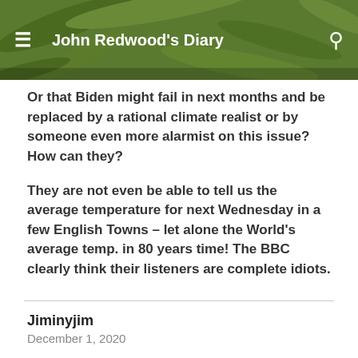John Redwood's Diary
Or that Biden might fail in next months and be replaced by a rational climate realist or by someone even more alarmist on this issue? How can they?
They are not even be able to tell us the average temperature for next Wednesday in a few English Towns – let alone the World's average temp. in 80 years time! The BBC clearly think their listeners are complete idiots.
Jiminyjim
December 1, 2020
What an incredibly ignorant comment. First read the article (which you clearly haven't, in view of your comment that it represents a teensy-weeny website!). Then, let's have your